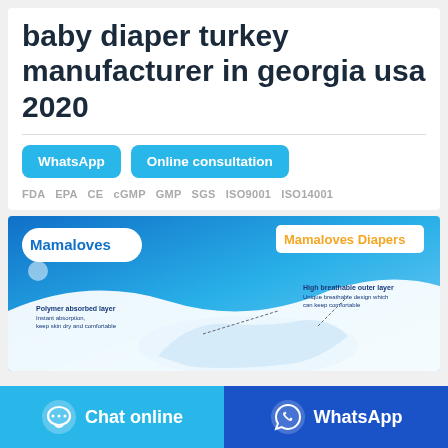baby diaper turkey manufacturer in georgia usa 2020
WhatsApp
Online consultation
FDA  EPA  CE  cGMP  GMP  SGS  ISO9001  ISO14001
[Figure (photo): Mamaloves Diapers product image showing a baby diaper with labeled layers: Polymer absorbed layer (instant absorption, keep skin dry and comfortable) and High breathable outer layer (Unique breathable design which can keep comfortable). Blue background with white wave design and Mamaloves branding.]
Chat online
WhatsApp